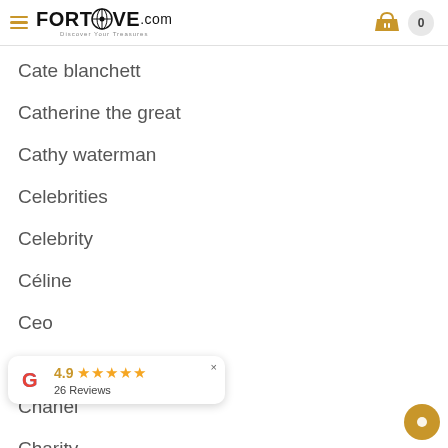FORTROVE.com — Discover Your Treasures
Cate blanchett
Catherine the great
Cathy waterman
Celebrities
Celebrity
Céline
Ceo
Cfda
Chanel
Charity
Charles & edward
[Figure (other): Google review widget showing 4.9 stars and 26 Reviews with a close button]
[Figure (other): Chat bubble icon in gold/amber color at bottom right]